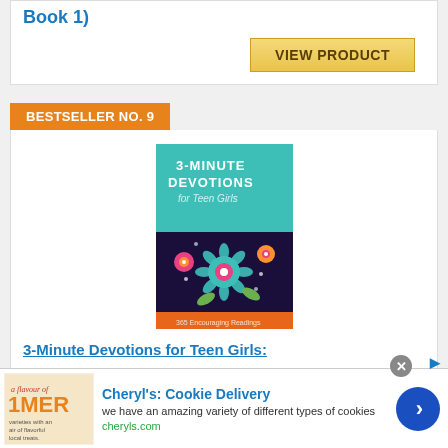Book 1)
VIEW PRODUCT
BESTSELLER NO. 9
[Figure (illustration): Book cover of '3-Minute Devotions for Teen Girls' with teal top half showing title text and colorful floral pattern on dark background on bottom half, with orange band at bottom.]
3-Minute Devotions for Teen Girls:
Cheryl's: Cookie Delivery
we have an amazing variety of different types of cookies
cheryls.com